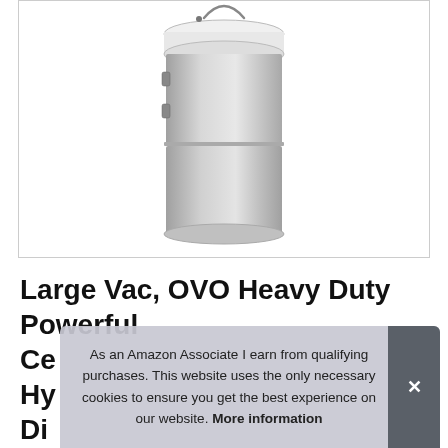[Figure (photo): A large stainless steel cylindrical central vacuum unit with a white top motor housing and metal latches on the drum body, shown on a white background with a thin border.]
Large Vac, OVO Heavy Duty Powerful Ce Hy Di
As an Amazon Associate I earn from qualifying purchases. This website uses the only necessary cookies to ensure you get the best experience on our website. More information